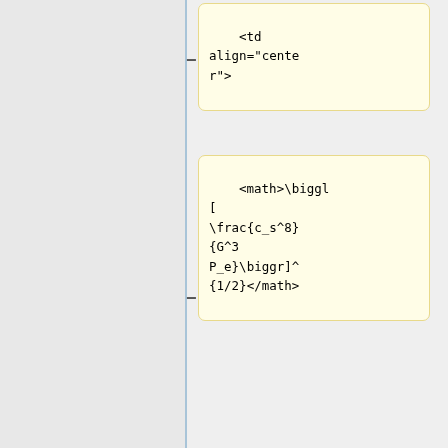[Figure (screenshot): Diff view of XML/HTML code showing table cell markup with math expressions. Left column (yellow, removed) shows <td align="center"> and <math>\biggl[\frac{c_s^8}{G^3 P_e}\biggr]^{1/2}</math>. Right column (blue, added) shows </tr>, blank line, <tr>. Both columns show </td>. Bottom shows new <td align="center"> and <math>\biggl blocks.]